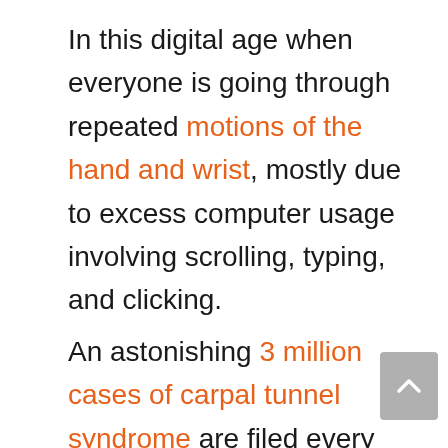In this digital age when everyone is going through repeated motions of the hand and wrist, mostly due to excess computer usage involving scrolling, typing, and clicking.
An astonishing 3 million cases of carpal tunnel syndrome are filed every year in the United States. Similarly, other countries in Europe face higher numbers too of CTS.
In terms of facts, your dominant hand is mostly affected in the beginning. As it is an inflammatory disease, any repetitive things terms of your profession can result in the